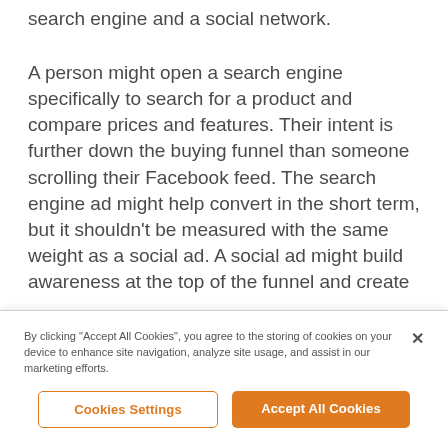search engine and a social network.
A person might open a search engine specifically to search for a product and compare prices and features. Their intent is further down the buying funnel than someone scrolling their Facebook feed. The search engine ad might help convert in the short term, but it shouldn't be measured with the same weight as a social ad. A social ad might build awareness at the top of the funnel and create
By clicking “Accept All Cookies”, you agree to the storing of cookies on your device to enhance site navigation, analyze site usage, and assist in our marketing efforts.
Cookies Settings
Accept All Cookies